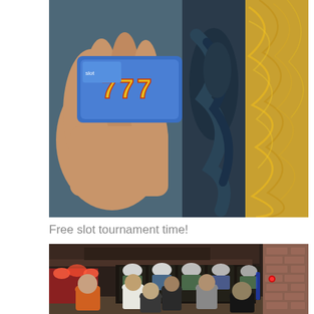[Figure (photo): A hand holding a blue casino slot tournament card with '777' text and logo. Behind it is a dark teal decorative sculpture and a golden swirling patterned carpet/surface on the right.]
Free slot tournament time!
[Figure (photo): Interior of a casino floor showing rows of illuminated slot machines with bright arch-shaped lights. Several people are standing and watching, viewed from behind. The room has dark wood beams on the ceiling and brick walls on the right side.]